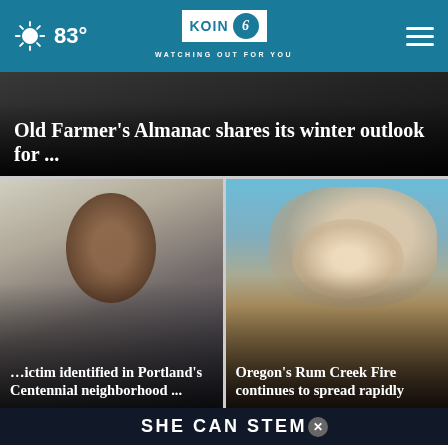83° | KOIN 6 | WATCHING OUT FOR YOU
Old Farmer's Almanac shares its winter outlook for ...
[Figure (photo): Left news card: Portrait photo of a smiling Black man, news headline about victim identified in Portland's Centennial neighborhood]
Victim identified in Portland's Centennial neighborhood ...
[Figure (photo): Right news card: Photo of large smoke cloud from wildfire against blue sky, headline about Oregon's Rum Creek Fire]
Oregon's Rum Creek Fire continues to spread rapidly
SHE CAN STEM